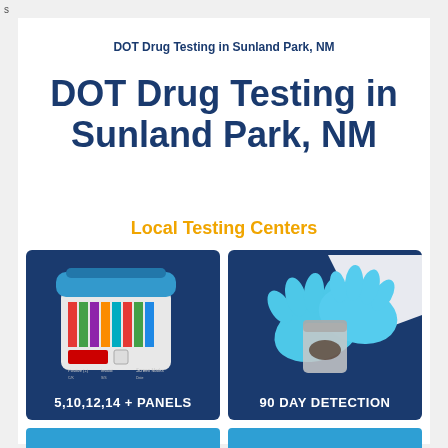s
DOT Drug Testing in Sunland Park, NM
DOT Drug Testing in Sunland Park, NM
Local Testing Centers
[Figure (photo): Drug test cup with multiple colored panels and labels showing 5,10,12,14 + PANELS]
[Figure (photo): Gloved hands handling a specimen container with label 90 DAY DETECTION]